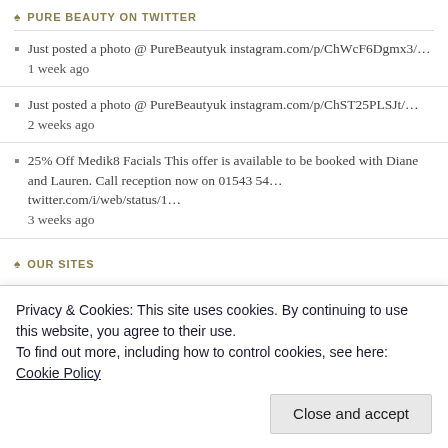PURE BEAUTY ON TWITTER
Just posted a photo @ PureBeautyuk instagram.com/p/ChWcF6Dgmx3/… 1 week ago
Just posted a photo @ PureBeautyuk instagram.com/p/ChST25PLSJt/… 2 weeks ago
25% Off Medik8 Facials This offer is available to be booked with Diane and Lauren. Call reception now on 01543 54… twitter.com/i/web/status/1… 3 weeks ago
OUR SITES
The Lichfield Beauty Salon
Pure Beauty Dermalogica
Pure Beauty Decleor
Privacy & Cookies: This site uses cookies. By continuing to use this website, you agree to their use. To find out more, including how to control cookies, see here: Cookie Policy
Close and accept